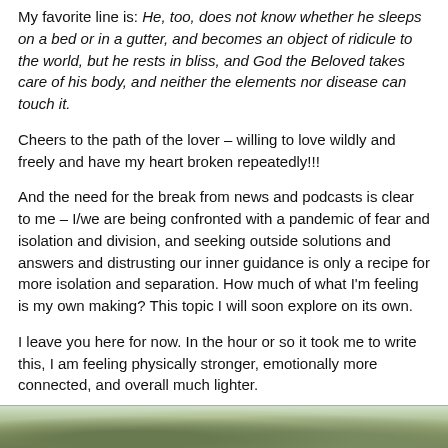My favorite line is: He, too, does not know whether he sleeps on a bed or in a gutter, and becomes an object of ridicule to the world, but he rests in bliss, and God the Beloved takes care of his body, and neither the elements nor disease can touch it.
Cheers to the path of the lover – willing to love wildly and freely and have my heart broken repeatedly!!!
And the need for the break from news and podcasts is clear to me – I/we are being confronted with a pandemic of fear and isolation and division, and seeking outside solutions and answers and distrusting our inner guidance is only a recipe for more isolation and separation. How much of what I'm feeling is my own making? This topic I will soon explore on its own.
I leave you here for now. In the hour or so it took me to write this, I am feeling physically stronger, emotionally more connected, and overall much lighter.
[Figure (photo): Partial view of a nature/outdoor photo showing green foliage or landscape at the bottom of the page]